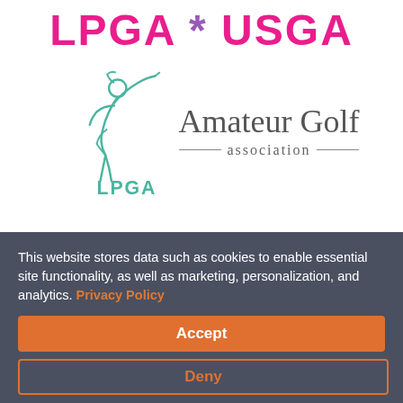[Figure (logo): LPGA * USGA header text logo in pink and purple stylized handwritten font]
[Figure (logo): LPGA Amateur Golf Association logo: teal golfer silhouette with LPGA text and 'Amateur Golf association' wordmark in grey]
This website stores data such as cookies to enable essential site functionality, as well as marketing, personalization, and analytics. Privacy Policy
Accept
Deny